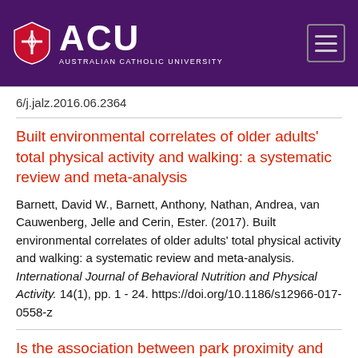[Figure (logo): Australian Catholic University (ACU) logo with shield icon and white text on purple background, with hamburger menu icon on right]
6/j.jalz.2016.06.2364
Built environmental correlates of older adults' total physical activity and walking: a systematic review and meta-analysis
Barnett, David W., Barnett, Anthony, Nathan, Andrea, van Cauwenberg, Jelle and Cerin, Ester. (2017). Built environmental correlates of older adults' total physical activity and walking: a systematic review and meta-analysis. International Journal of Behavioral Nutrition and Physical Activity. 14(1), pp. 1 - 24. https://doi.org/10.1186/s12966-017-0558-z
Is the association between park proximity and recreational physical activity among